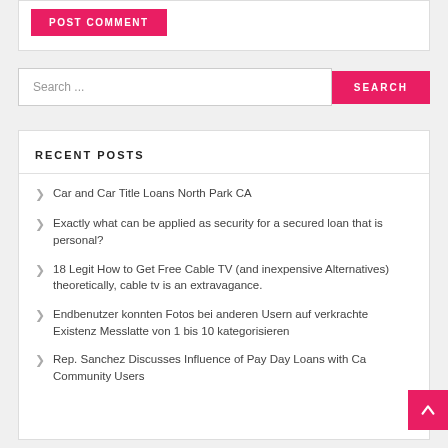POST COMMENT
Search ...
SEARCH
RECENT POSTS
Car and Car Title Loans North Park CA
Exactly what can be applied as security for a secured loan that is personal?
18 Legit How to Get Free Cable TV (and inexpensive Alternatives) theoretically, cable tv is an extravagance.
Endbenutzer konnten Fotos bei anderen Usern auf verkrachte Existenz Messlatte von 1 bis 10 kategorisieren
Rep. Sanchez Discusses Influence of Pay Day Loans with Ca Community Users